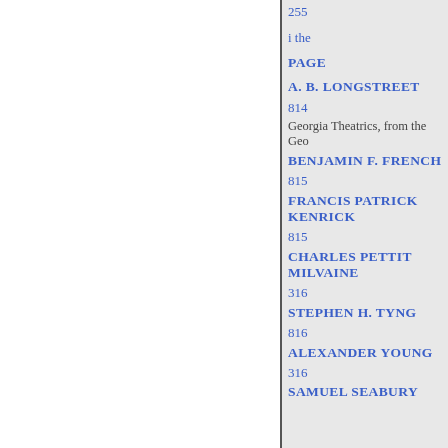255
i the
PAGE
A. B. LONGSTREET
814
Georgia Theatrics, from the Geo
BENJAMIN F. FRENCH
815
FRANCIS PATRICK KENRICK
815
CHARLES PETTIT MILVAINE
316
STEPHEN H. TYNG
816
ALEXANDER YOUNG
316
SAMUEL SEABURY